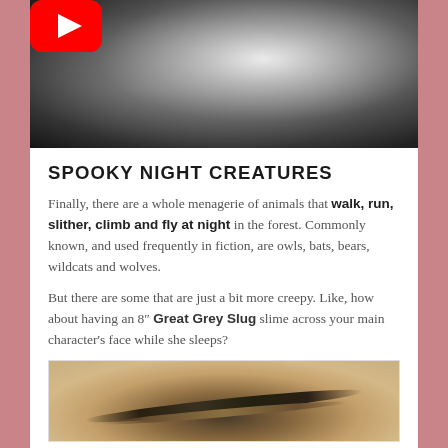[Figure (photo): Black and white video thumbnail with YouTube play button overlay, showing a night forest scene]
SPOOKY NIGHT CREATURES
Finally, there are a whole menagerie of animals that walk, run, slither, climb and fly at night in the forest. Commonly known, and used frequently in fiction, are owls, bats, bears, wildcats and wolves.
But there are some that are just a bit more creepy. Like, how about having an 8″ Great Grey Slug slime across your main character's face while she sleeps?
[Figure (photo): Close-up photo of a Great Grey Slug on a rocky surface, showing striped markings]